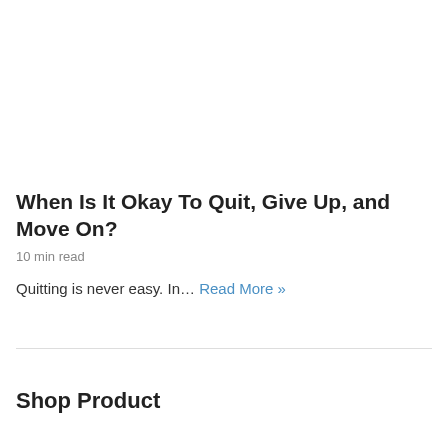When Is It Okay To Quit, Give Up, and Move On?
10 min read
Quitting is never easy. In… Read More »
Shop Product